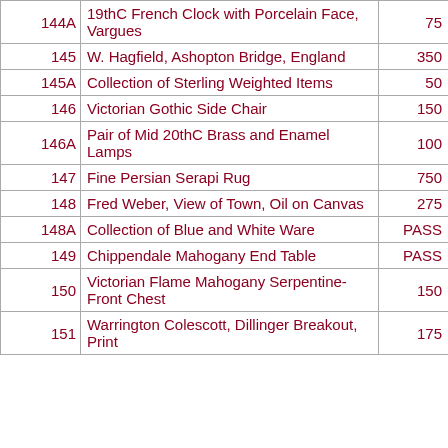| Lot | Description | Price |
| --- | --- | --- |
| 144A | 19thC French Clock with Porcelain Face, Vargues | 75 |
| 145 | W. Hagfield, Ashopton Bridge, England | 350 |
| 145A | Collection of Sterling Weighted Items | 50 |
| 146 | Victorian Gothic Side Chair | 150 |
| 146A | Pair of Mid 20thC Brass and Enamel Lamps | 100 |
| 147 | Fine Persian Serapi Rug | 750 |
| 148 | Fred Weber, View of Town, Oil on Canvas | 275 |
| 148A | Collection of Blue and White Ware | PASS |
| 149 | Chippendale Mahogany End Table | PASS |
| 150 | Victorian Flame Mahogany Serpentine-Front Chest | 150 |
| 151 | Warrington Colescott, Dillinger Breakout, Print | 175 |